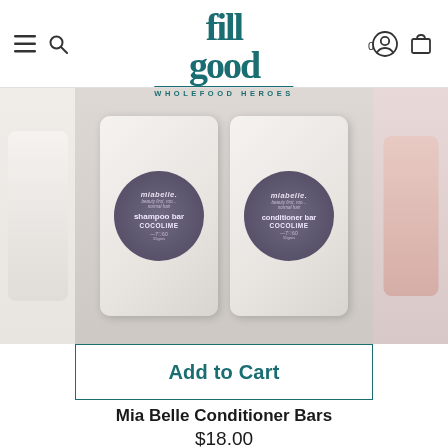fill good WHOLEFOOD HEROES
[Figure (photo): Two Mia Belle beauty bar soaps in white packaging with dark circular labels reading 'miabelle. beauty first, roo... normal hair shampoo bar COCOLIME' and 'miabelle. beauty first, roo... normal hair conditioner bar COCOLIME', placed side by side on a light surface. Partial views of other products visible on left and right edges.]
Add to Cart
Mia Belle Conditioner Bars
$18.00